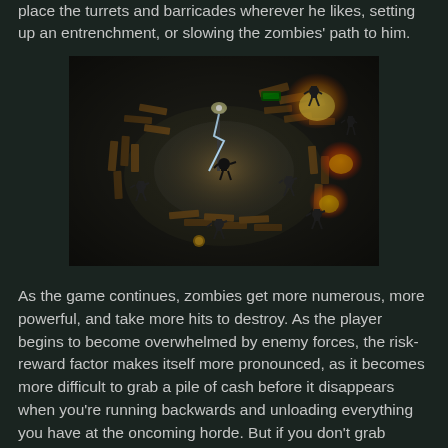place the turrets and barricades wherever he likes, setting up an entrenchment, or slowing the zombies' path to him.
[Figure (screenshot): Top-down view of a zombie survival game showing a player character surrounded by barricades and zombies, with fire effects and lightning visible. Dark atmospheric setting.]
As the game continues, zombies get more numerous, more powerful, and take more hits to destroy. As the player begins to become overwhelmed by enemy forces, the risk-reward factor makes itself more pronounced, as it becomes more difficult to grab a pile of cash before it disappears when you're running backwards and unloading everything you have at the oncoming horde. But if you don't grab enough cash, you'll be unable to purchase the weapons and defenses needed to survive the next round.